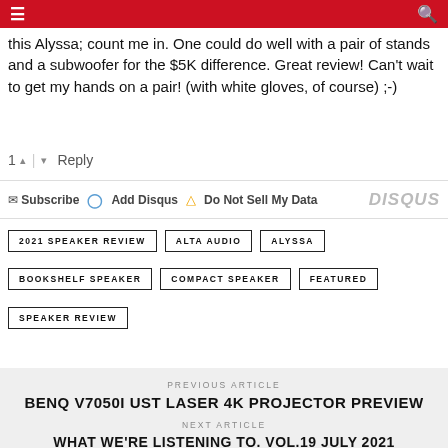≡ [hamburger menu] | [search icon]
this Alyssa; count me in. One could do well with a pair of stands and a subwoofer for the $5K difference. Great review! Can't wait to get my hands on a pair! (with white gloves, of course) ;-)
1 ▲ | ▼ Reply
✉ Subscribe  Ⓓ Add Disqus  ▲ Do Not Sell My Data   DISQUS
2021 SPEAKER REVIEW
ALTA AUDIO
ALYSSA
BOOKSHELF SPEAKER
COMPACT SPEAKER
FEATURED
SPEAKER REVIEW
PREVIOUS ARTICLE
BENQ V7050I UST LASER 4K PROJECTOR PREVIEW
NEXT ARTICLE
WHAT WE'RE LISTENING TO. VOL.19 JULY 2021